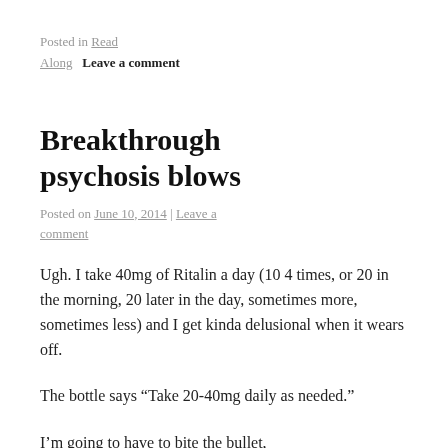Posted in Read Along   Leave a comment
Breakthrough psychosis blows
Posted on June 10, 2014 | Leave a comment
Ugh. I take 40mg of Ritalin a day (10 4 times, or 20 in the morning, 20 later in the day, sometimes more, sometimes less) and I get kinda delusional when it wears off.
The bottle says “Take 20-40mg daily as needed.”
I’m going to have to bite the bullet,